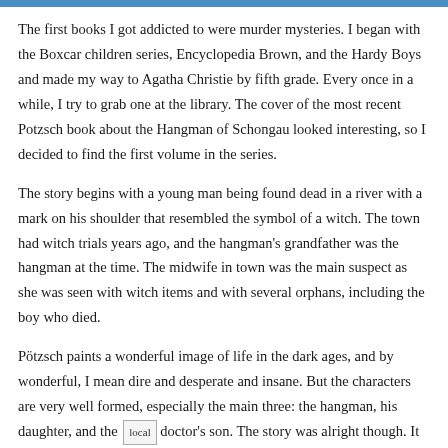The first books I got addicted to were murder mysteries. I began with the Boxcar children series, Encyclopedia Brown, and the Hardy Boys and made my way to Agatha Christie by fifth grade. Every once in a while, I try to grab one at the library. The cover of the most recent Potzsch book about the Hangman of Schongau looked interesting, so I decided to find the first volume in the series.
The story begins with a young man being found dead in a river with a mark on his shoulder that resembled the symbol of a witch. The town had witch trials years ago, and the hangman's grandfather was the hangman at the time. The midwife in town was the main suspect as she was seen with witch items and with several orphans, including the boy who died.
Pötzsch paints a wonderful image of life in the dark ages, and by wonderful, I mean dire and desperate and insane. But the characters are very well formed, especially the main three: the hangman, his daughter, and the local doctor's son. The story was alright though. It had a flow and became easy to